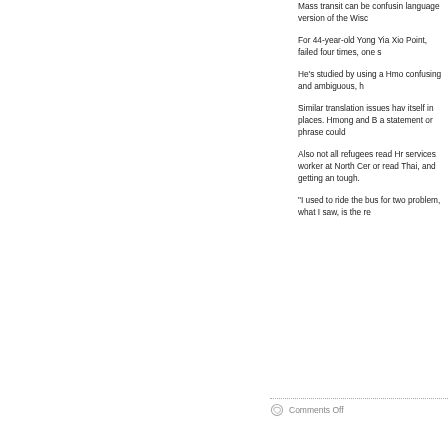Mass transit can be confusing language version of the Wisc
For 44-year-old Yong Yia Xio Point, failed four times, one s
He's studied by using a Hmo confusing and ambiguous, h
Similar translation issues hav itself in places. Hmong and E a statement or phrase could
Also not all refugees read Hr services worker at North Cer or read Thai, and getting an tough.
"I used to ride the bus for two problem, what I saw, is the re
Comments Off